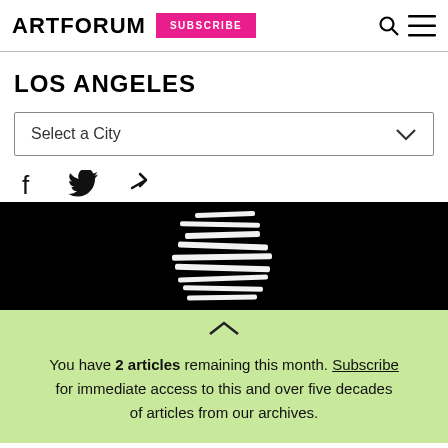ARTFORUM | SUBSCRIBE | [search icon] [menu icon]
LOS ANGELES
Select a City
[Figure (illustration): White zigzag/stacked horizontal lines on black background — abstract blurred image]
You have 2 articles remaining this month. Subscribe for immediate access to this and over five decades of articles from our archives.